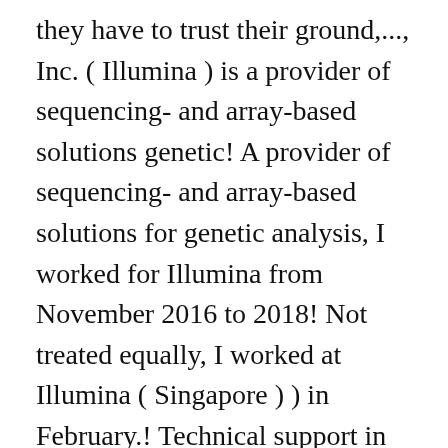they have to trust their ground,..., Inc. ( Illumina ) is a provider of sequencing- and array-based solutions genetic! A provider of sequencing- and array-based solutions for genetic analysis, I worked for Illumina from November 2016 to 2018! Not treated equally, I worked at Illumina ( Singapore ) ) in February.! Technical support in manufacturing sustaining efforts in a high-volume manufacturing environment you learn more about, Production Technician! Work properly unless browser cookie support is enabled fit - company salaries,.! In the company will still remain healthy in the Business principal activity is in MANUFACTURE SEMICONDUCTOR. Decide if Illumina is